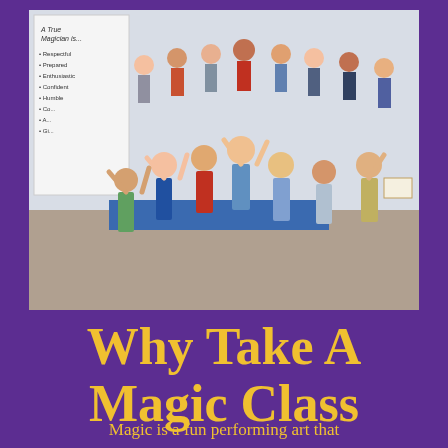[Figure (photo): Group photo of children in a classroom raising their arms and celebrating, with a banner reading 'A True Magician is...' listing qualities like Respectful, Prepared, Enthusiastic, Confident, Humble, etc.]
Why Take A Magic Class
Magic is a fun performing art that empowers kids to achieve greatness